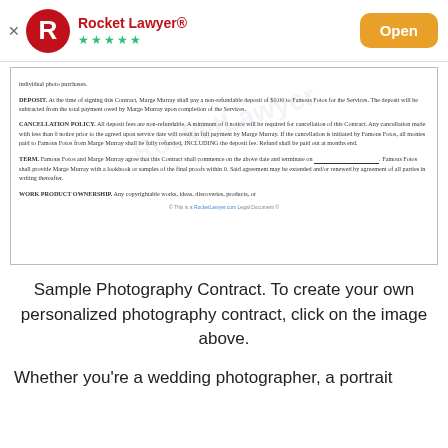[Figure (screenshot): Rocket Lawyer app banner with logo, 5 green stars, and orange Open button]
[Figure (screenshot): Sample photography contract document preview showing DEPOSIT, CANCELLATION POLICY, TERM, and WORK PRODUCT OWNERSHIP sections with Rocket Lawyer watermark and footer]
Sample Photography Contract. To create your own personalized photography contract, click on the image above.
Whether you're a wedding photographer, a portrait